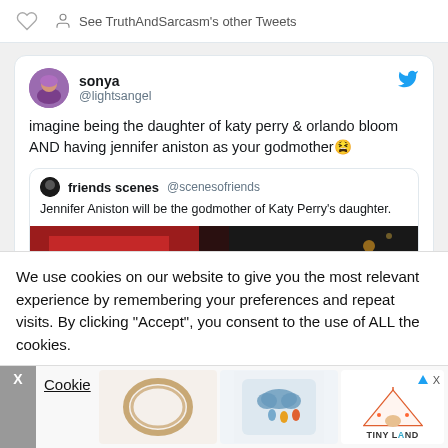See TruthAndSarcasm's other Tweets
sonya @lightsangel
imagine being the daughter of katy perry & orlando bloom AND having jennifer aniston as your godmother😫
friends scenes @scenesofriends — Jennifer Aniston will be the godmother of Katy Perry's daughter.
[Figure (photo): Photo of two women, likely Katy Perry and Jennifer Aniston, at a dark event venue with red lighting]
We use cookies on our website to give you the most relevant experience by remembering your preferences and repeat visits. By clicking "Accept", you consent to the use of ALL the cookies.
Cookie
[Figure (photo): Advertisement images showing a wooden embroidery hoop and a cloud-themed pillow, with Tiny Land logo]